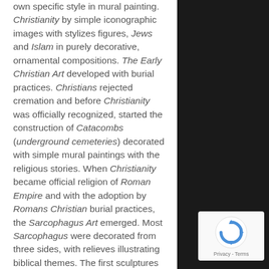own specific style in mural painting. Christianity by simple iconographic images with stylizes figures, Jews and Islam in purely decorative, ornamental compositions. The Early Christian Art developed with burial practices. Christians rejected cremation and before Christianity was officially recognized, started the construction of Catacombs (underground cemeteries) decorated with simple mural paintings with the religious stories. When Christianity became official religion of Roman Empire and with the adoption by Romans Christian burial practices, the Sarcophagus Art emerged. Most Sarcophagus were decorated from three sides, with relieves illustrating biblical themes. The first sculptures were executed in the spirit of still existing classical
[Figure (other): reCAPTCHA badge with spinning arrows logo and Privacy - Terms text]